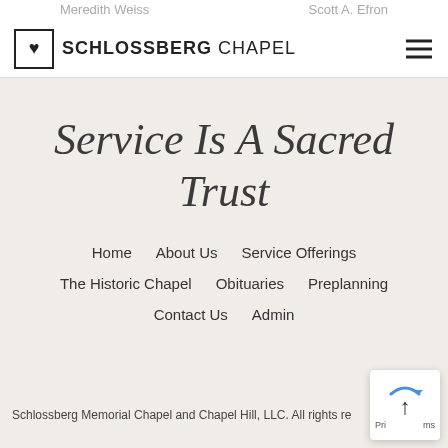Meredith Weiss   Scott A. Efron
[Figure (logo): Schlossberg Chapel logo: heart icon in a square box followed by text SCHLOSSBERG CHAPEL]
Service Is A Sacred Trust
Home
About Us
Service Offerings
The Historic Chapel
Obituaries
Preplanning
Contact Us
Admin
Schlossberg Memorial Chapel and Chapel Hill, LLC. All rights re...